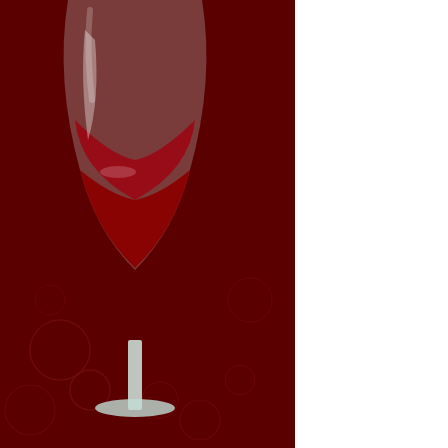[Figure (illustration): Wine application logo — a wine glass with red wine on a dark red background with circular decorative patterns, shown on the left side of the page.]
| Name | ID | Description |
| --- | --- | --- |
| Volo View Express | 1271 | Express as the free viewer for AutoCAD-based DWG, DWF, and DXF files as well as Autodesk Inventor files. Start viewing and printing AutoCAD and Autodesk Inventor design data with ease |
|  |  | This is a small application that allows to play games remotely on servers maintained by Vortex.gg. For most titles game ownership is still required Steam Origin etc). Vor |